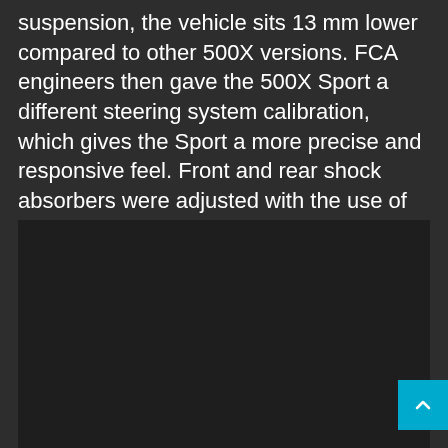suspension, the vehicle sits 13 mm lower compared to other 500X versions. FCA engineers then gave the 500X Sport a different steering system calibration, which gives the Sport a more precise and responsive feel. Front and rear shock absorbers were adjusted with the use of Frequency Selective Damping (FSD) technology, which gives the vehicle better road handling at higher-speeds, better handling, without compromising comfort.
[Figure (photo): Dark image area, likely a photo of the Fiat 500X Sport vehicle, displayed against a dark background.]